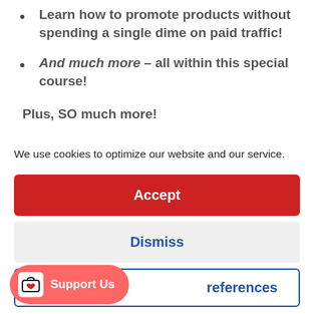Learn how to promote products without spending a single dime on paid traffic!
And much more – all within this special course!
Plus, SO much more!
We use cookies to optimize our website and our service.
Accept
Dismiss
references
Support Us